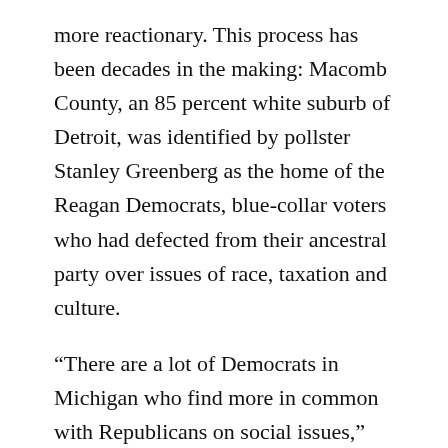more reactionary. This process has been decades in the making: Macomb County, an 85 percent white suburb of Detroit, was identified by pollster Stanley Greenberg as the home of the Reagan Democrats, blue-collar voters who had defected from their ancestral party over issues of race, taxation and culture.
“There are a lot of Democrats in Michigan who find more in common with Republicans on social issues,” Ballenger said. “The Upper Peninsula used to be Democratic, but it’s become Republican. The U.P. continues to lose population. Those are young people moving away. Old Democrats are dying out, and they’re being replaced by Republicans.”
It was 2010, though, that put the final stamp on conservative drift. In a big year for Republicans nationwide, Snyder won a 38-point landslide for governor and...